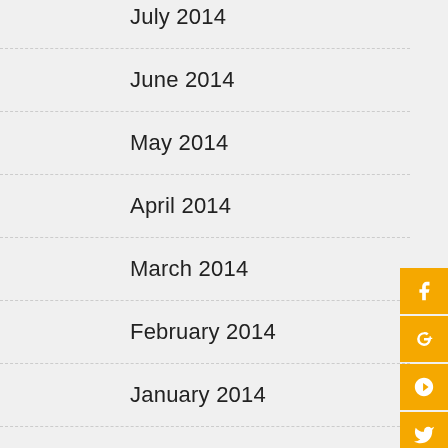July 2014
June 2014
May 2014
April 2014
March 2014
February 2014
January 2014
December 2013
November 2013
October 2013
July 2013